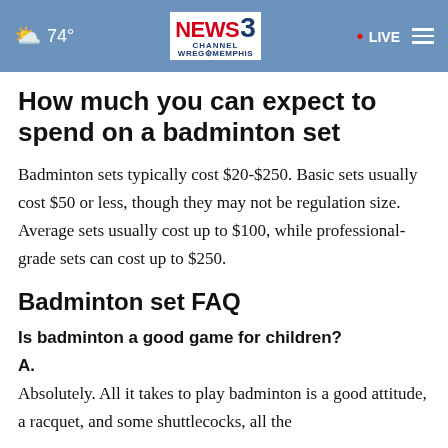74° NEWS CHANNEL 3 WREG MEMPHIS • LIVE
How much you can expect to spend on a badminton set
Badminton sets typically cost $20-$250. Basic sets usually cost $50 or less, though they may not be regulation size. Average sets usually cost up to $100, while professional-grade sets can cost up to $250.
Badminton set FAQ
Is badminton a good game for children?
A.
Absolutely. All it takes to play badminton is a good attitude, a racquet, and some shuttlecocks, all the